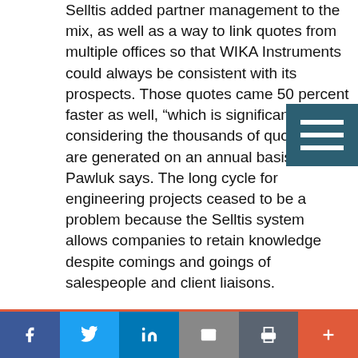Selltis added partner management to the mix, as well as a way to link quotes from multiple offices so that WIKA Instruments could always be consistent with its prospects. Those quotes came 50 percent faster as well, "which is significant considering the thousands of quotes that are generated on an annual basis," Pawluk says. The long cycle for engineering projects ceased to be a problem because the Selltis system allows companies to retain knowledge despite comings and goings of salespeople and client liaisons.

SaaS from Selltis proved to be the solution Pawluk needed to combat the laggard updates and poor server connectivity WIKA Instruments used to have–Selltis was always available. The sales team had a tool that actually helped it do its job, one that was reachable from anywhere; the team began to keep records in order, the way the company needed. "Nobody likes to be held accountable, but eventually everybody sees the value," Pawluk says. "By going Web-based, we solved that issue."
[Figure (other): Hamburger menu icon with three white horizontal lines on dark teal/slate background]